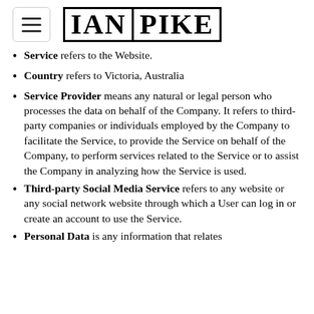IAN PIKE
Service refers to the Website.
Country refers to Victoria, Australia
Service Provider means any natural or legal person who processes the data on behalf of the Company. It refers to third-party companies or individuals employed by the Company to facilitate the Service, to provide the Service on behalf of the Company, to perform services related to the Service or to assist the Company in analyzing how the Service is used.
Third-party Social Media Service refers to any website or any social network website through which a User can log in or create an account to use the Service.
Personal Data is any information that relates